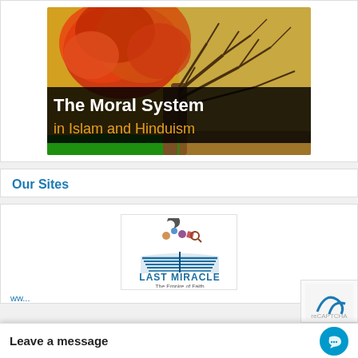[Figure (illustration): Artistic image of a tree split into two halves — left side with red/orange autumn foliage and right side with bare branches against golden sky, with green grass at the base. Text overlay reads 'The Moral System in Islam and Hinduism'.]
Our Sites
[Figure (logo): Last Miracle logo — an open book with colorful objects floating above it (crescent moon, gems, magnifying glass) and text 'LAST MIRACLE The Empire of Faith' in blue.]
ww...
Leave a message